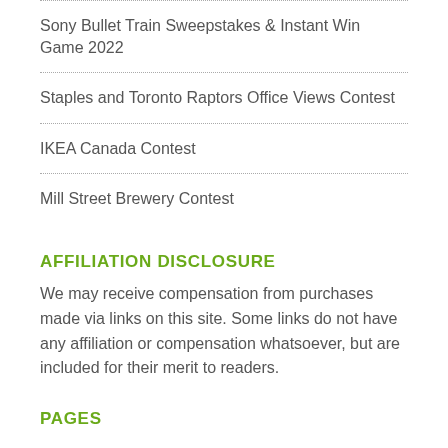Sony Bullet Train Sweepstakes & Instant Win Game 2022
Staples and Toronto Raptors Office Views Contest
IKEA Canada Contest
Mill Street Brewery Contest
AFFILIATION DISCLOSURE
We may receive compensation from purchases made via links on this site. Some links do not have any affiliation or compensation whatsoever, but are included for their merit to readers.
PAGES